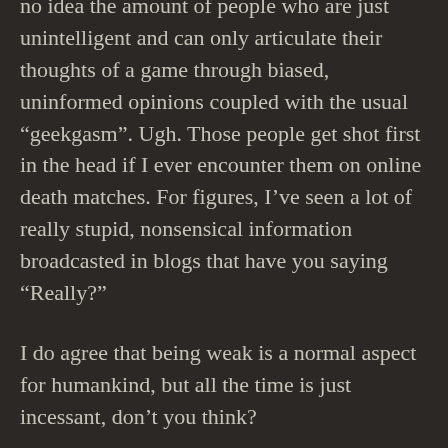no idea the amount of people who are just unintelligent and can only articulate their thoughts of a game through biased, uninformed opinions coupled with the usual “geekgasm”. Ugh. Those people get shot first in the head if I ever encounter them on online death matches. For figures, I’ve seen a lot of really stupid, nonsensical information broadcasted in blogs that have you saying “Really?”
I do agree that being weak is a normal aspect for humankind, but all the time is just incessant, don’t you think?
Yeah, I only own Death Note nendoroid bootlegs because I was green at the earliest point of my collecting days last March. I have only replaced L. I think I will keep them and use them for experimentation. My little guinea pigs to test out color, shade and sculpt for when I want to get into resins and kits. I’m glad that you collect for you and nobody else. I am really into aestheticism and quality. I have bought figures before whose